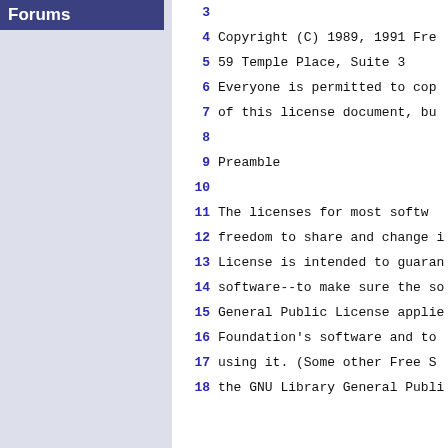Forums
3
4  Copyright (C) 1989, 1991 Fr
5       59 Temple Place, Suite 3
6  Everyone is permitted to cop
7  of this license document, bu
8
9                            Preamble
10
11   The licenses for most softw
12 freedom to share and change i
13 License is intended to guaran
14 software--to make sure the so
15 General Public License applie
16 Foundation's software and to
17 using it.  (Some other Free S
18 the GNU Library General Publi